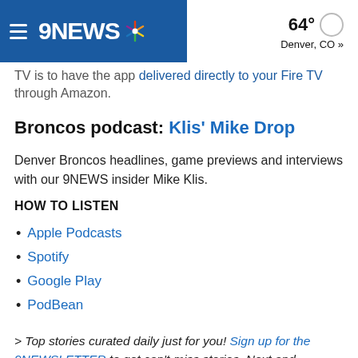9NEWS | 64° Denver, CO »
TV is to have the app delivered directly to your Fire TV through Amazon.
Broncos podcast: Klis' Mike Drop
Denver Broncos headlines, game previews and interviews with our 9NEWS insider Mike Klis.
HOW TO LISTEN
Apple Podcasts
Spotify
Google Play
PodBean
> Top stories curated daily just for you! Sign up for the 9NEWSLETTER to get can't-miss stories, Next and Broncos